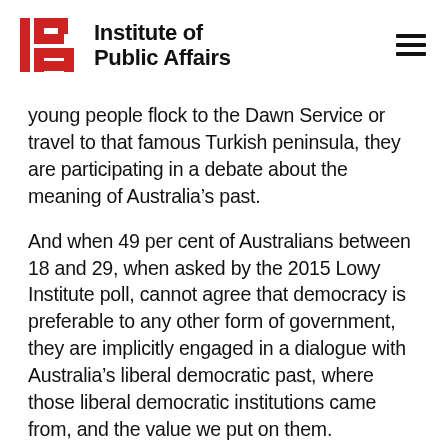Institute of Public Affairs
young people flock to the Dawn Service or travel to that famous Turkish peninsula, they are participating in a debate about the meaning of Australia’s past.
And when 49 per cent of Australians between 18 and 29, when asked by the 2015 Lowy Institute poll, cannot agree that democracy is preferable to any other form of government, they are implicitly engaged in a dialogue with Australia’s liberal democratic past, where those liberal democratic institutions came from, and the value we put on them.